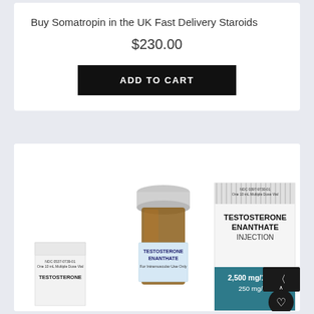Buy Somatropin in the UK Fast Delivery Staroids
$230.00
ADD TO CART
[Figure (photo): Pharmaceutical product photo showing testosterone enanthate injection vials and boxes. Two amber glass vials with silver caps and blue labels reading 'TESTOSTERONE ENANTHATE For Intramuscular Use Only', alongside white pharmaceutical boxes labeled 'TESTOSTERONE ENANTHATE INJECTION 2,500 mg/10 mL 250 mg/mL'. NDC numbers visible on box tops.]